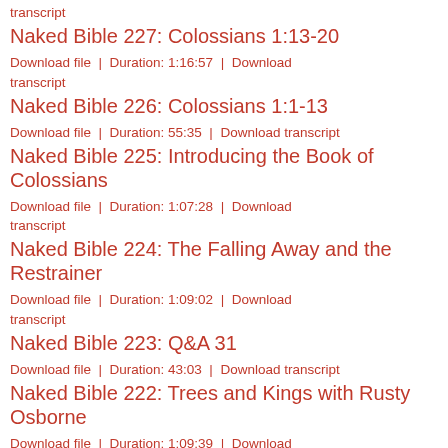transcript
Naked Bible 227: Colossians 1:13-20
Download file  |  Duration: 1:16:57  |  Download transcript
Naked Bible 226: Colossians 1:1-13
Download file  |  Duration: 55:35  |  Download transcript
Naked Bible 225: Introducing the Book of Colossians
Download file  |  Duration: 1:07:28  |  Download transcript
Naked Bible 224: The Falling Away and the Restrainer
Download file  |  Duration: 1:09:02  |  Download transcript
Naked Bible 223: Q&A 31
Download file  |  Duration: 43:03  |  Download transcript
Naked Bible 222: Trees and Kings with Rusty Osborne
Download file  |  Duration: 1:09:39  |  Download